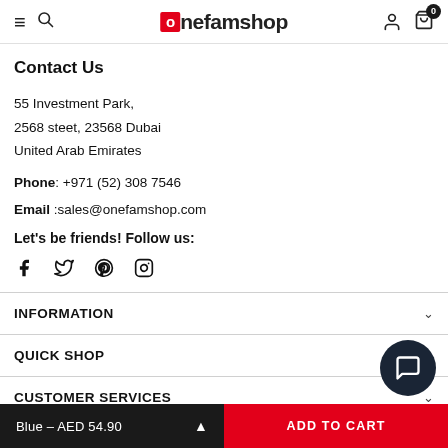onefamshop
Contact Us
55 Investment Park,
2568 steet, 23568 Dubai
United Arab Emirates
Phone: +971 (52) 308 7546
Email :sales@onefamshop.com
Let's be friends! Follow us:
[Figure (other): Social media icons: Facebook, Twitter, Pinterest, Instagram]
INFORMATION
QUICK SHOP
CUSTOMER SERVICES
Blue – AED 54.90
ADD TO CART